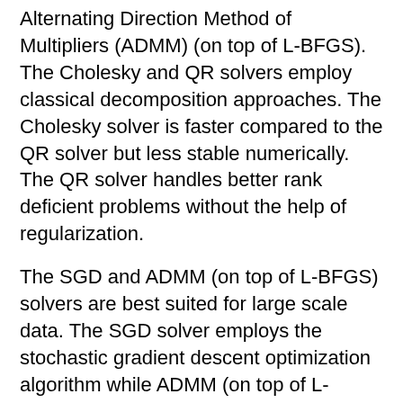Alternating Direction Method of Multipliers (ADMM) (on top of L-BFGS). The Cholesky and QR solvers employ classical decomposition approaches. The Cholesky solver is faster compared to the QR solver but less stable numerically. The QR solver handles better rank deficient problems without the help of regularization.
The SGD and ADMM (on top of L-BFGS) solvers are best suited for large scale data. The SGD solver employs the stochastic gradient descent optimization algorithm while ADMM (on top of L-BFGS) uses the Broyden-Fletcher-Goldfarb-Shanno optimization algorithm within an Alternating Direction Method of Multipliers framework. The SGD solver is fast but is sensitive to parameters and requires suitable scaled data to achieve good convergence. The L-BFGS algorithm solves unconstrained optimization problems and is more stable and robust than SGD. Also, L-BFGS uses ADMM in conjunction, which, results in an efficient distributed optimization approach with low communication cost